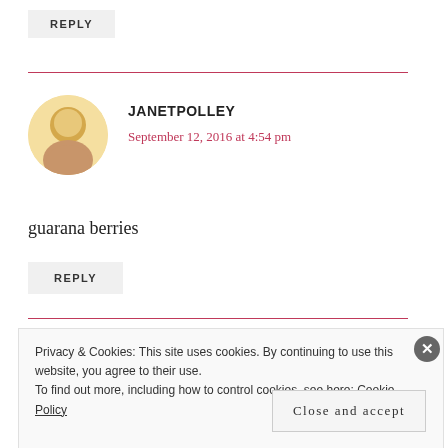REPLY
JANETPOLLEY
September 12, 2016 at 4:54 pm
guarana berries
REPLY
Privacy & Cookies: This site uses cookies. By continuing to use this website, you agree to their use.
To find out more, including how to control cookies, see here: Cookie Policy
Close and accept